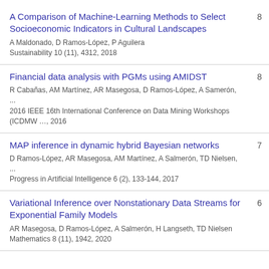A Comparison of Machine-Learning Methods to Select Socioeconomic Indicators in Cultural Landscapes
A Maldonado, D Ramos-López, P Aguilera
Sustainability 10 (11), 4312, 2018
8
Financial data analysis with PGMs using AMIDST
R Cabañas, AM Martínez, AR Masegosa, D Ramos-López, A Samerón, ...
2016 IEEE 16th International Conference on Data Mining Workshops (ICDMW ..., 2016
8
MAP inference in dynamic hybrid Bayesian networks
D Ramos-López, AR Masegosa, AM Martínez, A Salmerón, TD Nielsen, ...
Progress in Artificial Intelligence 6 (2), 133-144, 2017
7
Variational Inference over Nonstationary Data Streams for Exponential Family Models
AR Masegosa, D Ramos-López, A Salmerón, H Langseth, TD Nielsen
Mathematics 8 (11), 1942, 2020
6